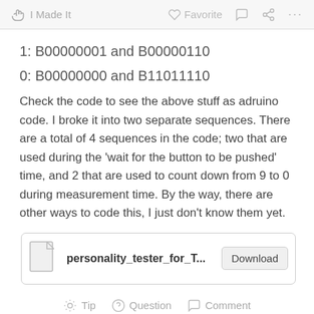I Made It  Favorite  ...
1: B00000001 and B00000110
0: B00000000 and B11011110
Check the code to see the above stuff as adruino code. I broke it into two separate sequences. There are a total of 4 sequences in the code; two that are used during the 'wait for the button to be pushed' time, and 2 that are used to count down from 9 to 0 during measurement time. By the way, there are other ways to code this, I just don't know them yet.
[Figure (other): File download box with document icon, filename 'personality_tester_for_T...' and a Download button]
Tip  Question  Comment